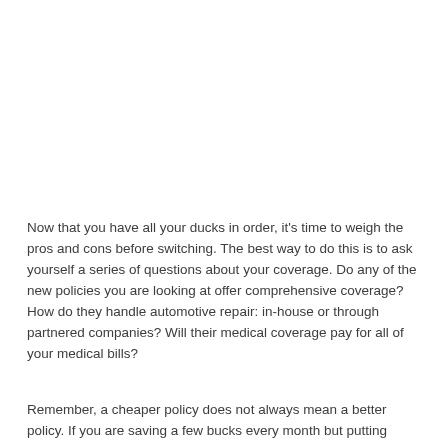Now that you have all your ducks in order, it's time to weigh the pros and cons before switching. The best way to do this is to ask yourself a series of questions about your coverage. Do any of the new policies you are looking at offer comprehensive coverage? How do they handle automotive repair: in-house or through partnered companies? Will their medical coverage pay for all of your medical bills?
Remember, a cheaper policy does not always mean a better policy. If you are saving a few bucks every month but putting